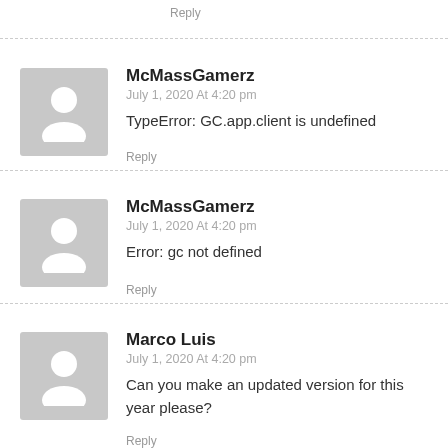Reply
McMassGamerz
July 1, 2020 At 4:20 pm
TypeError: GC.app.client is undefined
Reply
McMassGamerz
July 1, 2020 At 4:20 pm
Error: gc not defined
Reply
Marco Luis
July 1, 2020 At 4:20 pm
Can you make an updated version for this year please?
Reply